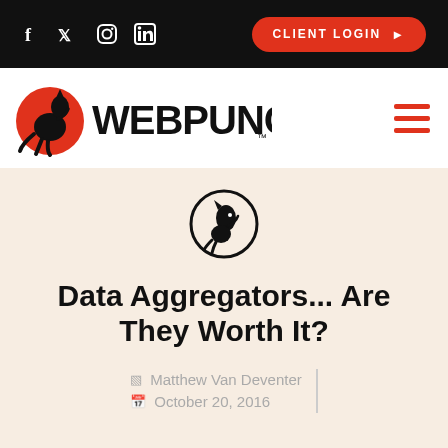Social icons: f, Twitter, Instagram, LinkedIn | CLIENT LOGIN button
[Figure (logo): WebPunch logo with kangaroo silhouette on red circle and bold WEBPUNCH text]
[Figure (logo): WebPunch kangaroo head icon in a black circle]
Data Aggregators... Are They Worth It?
Matthew Van Deventer | October 20, 2016